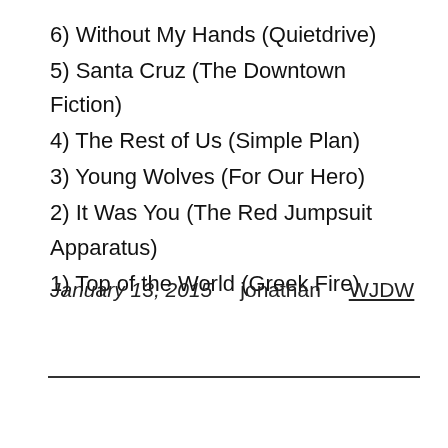6) Without My Hands (Quietdrive)
5) Santa Cruz (The Downtown Fiction)
4) The Rest of Us (Simple Plan)
3) Young Wolves (For Our Hero)
2) It Was You (The Red Jumpsuit Apparatus)
1) Top of the World (Greek Fire)
January 13, 2015   jonathan   WJDW